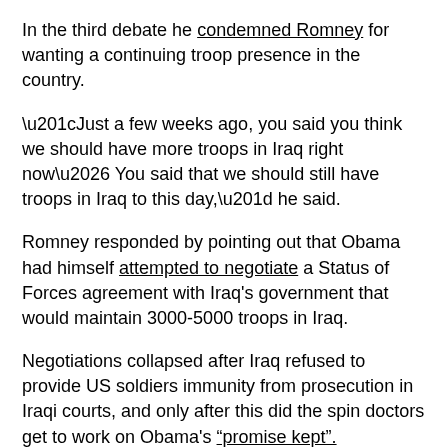In the third debate he condemned Romney for wanting a continuing troop presence in the country.
“Just a few weeks ago, you said you think we should have more troops in Iraq right now… You said that we should still have troops in Iraq to this day,” he said.
Romney responded by pointing out that Obama had himself attempted to negotiate a Status of Forces agreement with Iraq’s government that would maintain 3000-5000 troops in Iraq.
Negotiations collapsed after Iraq refused to provide US soldiers immunity from prosecution in Iraqi courts, and only after this did the spin doctors get to work on Obama’s “promise kept”.
Romney described this as a blow to America’s influence in the region.
“America’s ability to influence events for the better in Iraq has been undermined by the abrupt withdrawal of our entire troop presence,” he said.